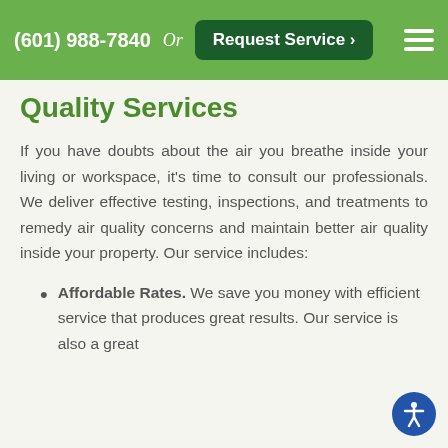(601) 988-7840  Or  Request Service >
Quality Services
If you have doubts about the air you breathe inside your living or workspace, it’s time to consult our professionals. We deliver effective testing, inspections, and treatments to remedy air quality concerns and maintain better air quality inside your property. Our service includes:
Affordable Rates. We save you money with efficient service that produces great results. Our service is also a great